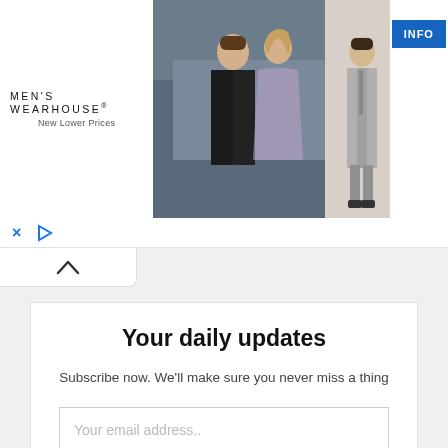[Figure (screenshot): Men's Wearhouse advertisement banner showing a couple in formal wear and a man in a grey suit, with INFO button]
[Figure (screenshot): Ad controls bar with X close button and play/expand button, and a collapse chevron tab]
Your daily updates
Subscribe now. We'll make sure you never miss a thing
Your email address..
SUBSCRIBE